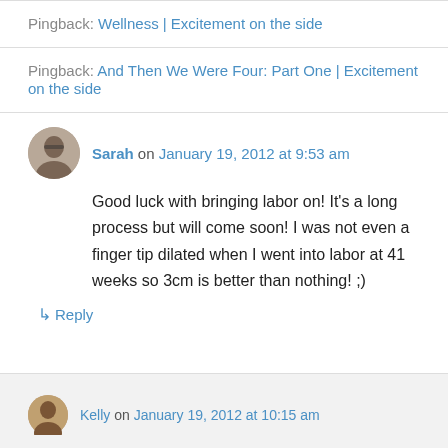Pingback: Wellness | Excitement on the side
Pingback: And Then We Were Four: Part One | Excitement on the side
Sarah on January 19, 2012 at 9:53 am
Good luck with bringing labor on! It's a long process but will come soon! I was not even a finger tip dilated when I went into labor at 41 weeks so 3cm is better than nothing! ;)
↳ Reply
Kelly on January 19, 2012 at 10:15 am